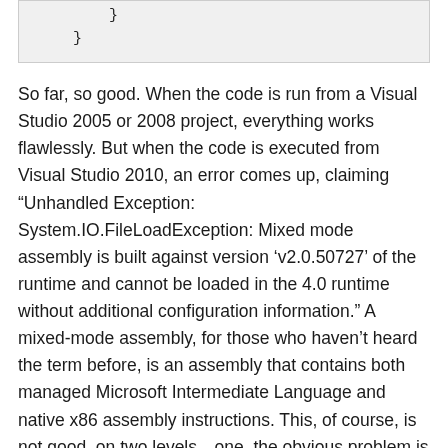}
  }
So far, so good. When the code is run from a Visual Studio 2005 or 2008 project, everything works flawlessly. But when the code is executed from Visual Studio 2010, an error comes up, claiming “Unhandled Exception: System.IO.FileLoadException: Mixed mode assembly is built against version ‘v2.0.50727’ of the runtime and cannot be loaded in the 4.0 runtime without additional configuration information.” A mixed-mode assembly, for those who haven’t heard the term before, is an assembly that contains both managed Microsoft Intermediate Language and native x86 assembly instructions. This, of course, is not good, on two levels—one, the obvious problem is we need to get the code to work, and two, if this is a mixed-mode assembly, it’s going to create some problems when using SQLite in other environments, such as ASP.NET.